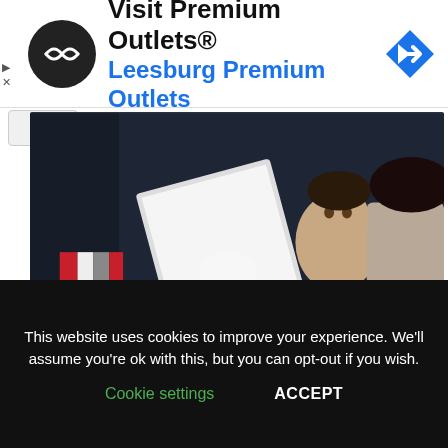[Figure (other): Advertisement banner for Visit Premium Outlets - Leesburg Premium Outlets with circular logo and navigation icon]
[Figure (photo): Hana Hatae as a young child in Star Trek, sitting with an adult, holding a writing implement near a tablet/clipboard in a dark interior scene]
Hana Hatae in Star Trek then
[Figure (photo): Partial view of a second photo with warm reddish-brown tones, partially obscured by cookie consent banner]
This website uses cookies to improve your experience. We'll assume you're ok with this, but you can opt-out if you wish.
Cookie settings   ACCEPT